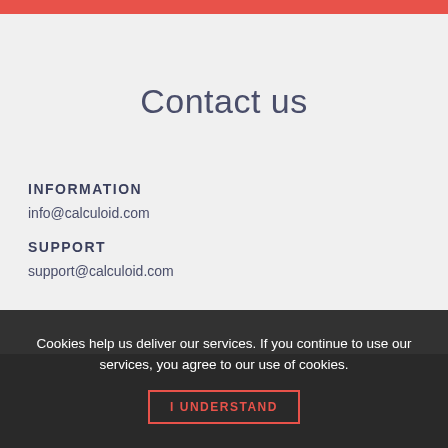Contact us
INFORMATION
info@calculoid.com
SUPPORT
support@calculoid.com
EARLY ADOPTER GROUP
Kemp House, 152-160
City Road, EC1V
Cookies help us deliver our services. If you continue to use our services, you agree to our use of cookies.
I UNDERSTAND